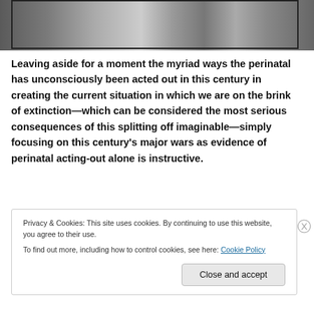[Figure (photo): Black and white photograph showing people near rocks or rubble, partially visible at top of page]
Leaving aside for a moment the myriad ways the perinatal has unconsciously been acted out in this century in creating the current situation in which we are on the brink of extinction—which can be considered the most serious consequences of this splitting off imaginable—simply focusing on this century's major wars as evidence of perinatal acting-out alone is instructive.
Privacy & Cookies: This site uses cookies. By continuing to use this website, you agree to their use.
To find out more, including how to control cookies, see here: Cookie Policy